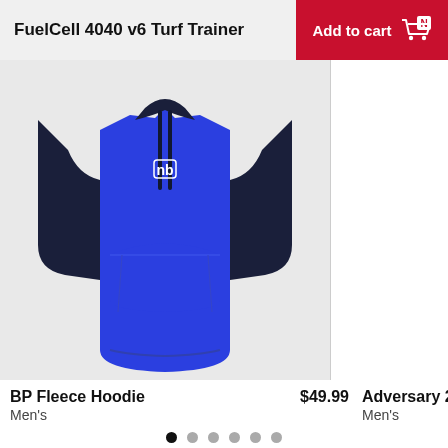FuelCell 4040 v6 Turf Trainer
Add to cart
[Figure (photo): Blue and navy New Balance BP Fleece Hoodie short sleeve pullover with kangaroo pocket and drawstring hood, displayed on a light gray background]
BP Fleece Hoodie
Men's
$49.99
Adversary 2 B
Men's